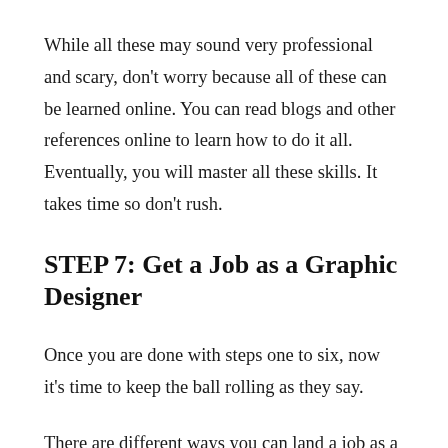While all these may sound very professional and scary, don't worry because all of these can be learned online. You can read blogs and other references online to learn how to do it all. Eventually, you will master all these skills. It takes time so don't rush.
STEP 7: Get a Job as a Graphic Designer
Once you are done with steps one to six, now it's time to keep the ball rolling as they say.
There are different ways you can land a job as a